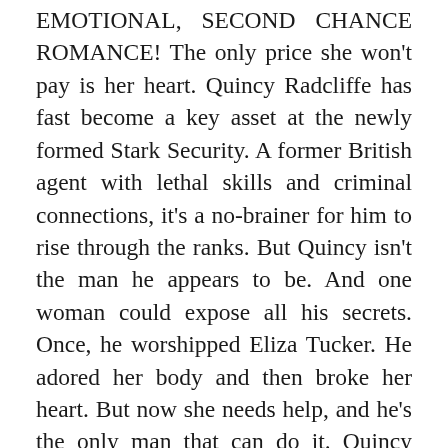EMOTIONAL, SECOND CHANCE ROMANCE! The only price she won't pay is her heart. Quincy Radcliffe has fast become a key asset at the newly formed Stark Security. A former British agent with lethal skills and criminal connections, it's a no-brainer for him to rise through the ranks. But Quincy isn't the man he appears to be. And one woman could expose all his secrets. Once, he worshipped Eliza Tucker. He adored her body and then broke her heart. But now she needs help, and he's the only man that can do it. Quincy knows he must either turn his back on her or risk revealing his dark past to the one woman who can—and will—tear open his old wounds. For years, Eliza has tried to forget the man who shattered her. His smoldering good looks had drawn her in; his British charm had enchanted her. But it was the wildness of his seduction and the ferocity of his passion that captured her. She'd given herself to him—and he'd destroyed her. Now, he's the only person who can help find her missing sister. She'll use him because she has to. She'll pay anything he...